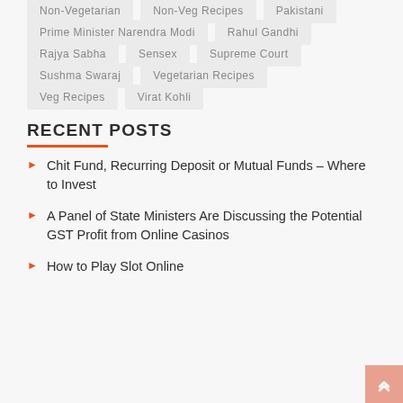Non-Vegetarian
Non-Veg Recipes
Pakistani
Prime Minister Narendra Modi
Rahul Gandhi
Rajya Sabha
Sensex
Supreme Court
Sushma Swaraj
Vegetarian Recipes
Veg Recipes
Virat Kohli
RECENT POSTS
Chit Fund, Recurring Deposit or Mutual Funds – Where to Invest
A Panel of State Ministers Are Discussing the Potential GST Profit from Online Casinos
How to Play Slot Online